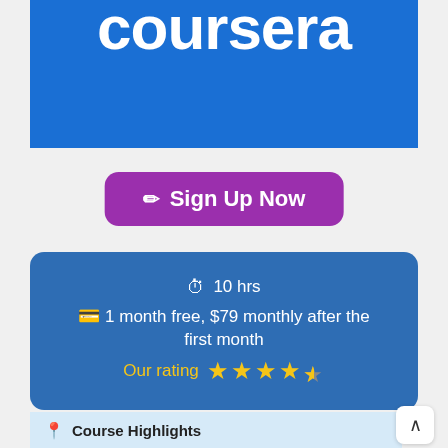[Figure (logo): Coursera logo on blue background, showing the text 'coursera' in large white bold letters]
[Figure (other): Purple 'Sign Up Now' button with pencil icon]
⏱ 10 hrs
💳 1 month free, $79 monthly after the first month
Our rating ★★★★½
Course Highlights